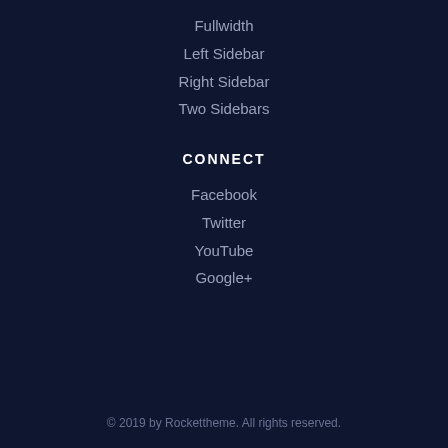Fullwidth
Left Sidebar
Right Sidebar
Two Sidebars
CONNECT
Facebook
Twitter
YouTube
Google+
© 2019 by Rockettheme. All rights reserved.